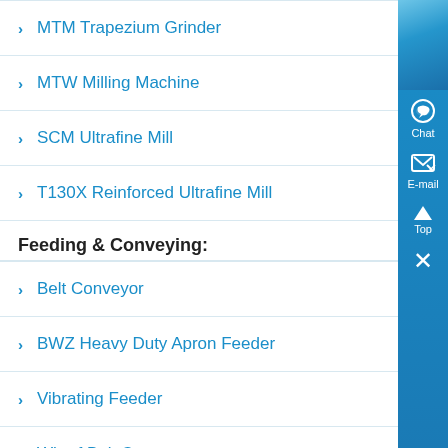MTM Trapezium Grinder
MTW Milling Machine
SCM Ultrafine Mill
T130X Reinforced Ultrafine Mill
Feeding & Conveying:
Belt Conveyor
BWZ Heavy Duty Apron Feeder
Vibrating Feeder
Wharf Belt Conveyor
Screening & Washing:
LSX Sand Washing Machine
[Figure (other): Blue sidebar with Chat, E-mail, Top, and close (X) buttons]